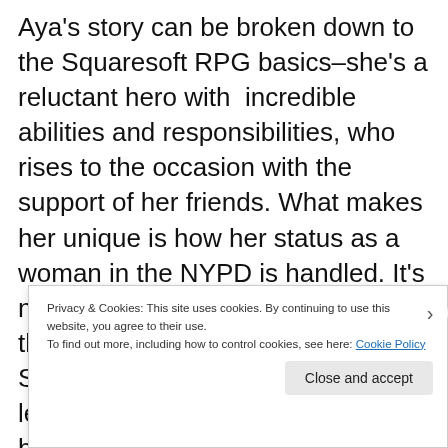Aya's story can be broken down to the Squaresoft RPG basics–she's a reluctant hero with incredible abilities and responsibilities, who rises to the occasion with the support of her friends. What makes her unique is how her status as a woman in the NYPD is handled. It's not especially nuanced, but it gets the job done (especially for 1997). She wears the New York staple of a leather jacket and jeans–no weird battle armor here; she's ultimately respected by
Privacy & Cookies: This site uses cookies. By continuing to use this website, you agree to their use.
To find out more, including how to control cookies, see here: Cookie Policy
Close and accept